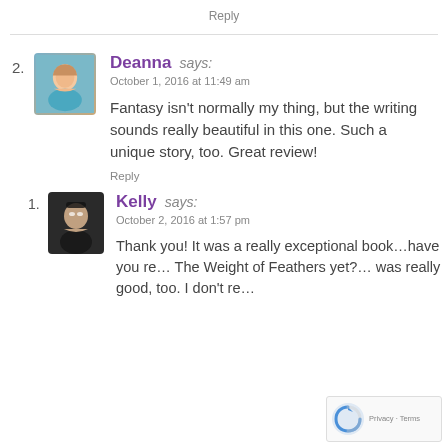Reply
2. Deanna says: October 1, 2016 at 11:49 am
Fantasy isn't normally my thing, but the writing sounds really beautiful in this one. Such a unique story, too. Great review!
Reply
1. Kelly says: October 2, 2016 at 1:57 pm
Thank you! It was a really exceptional book…have you re… The Weight of Feathers yet?… was really good, too. I don't re…